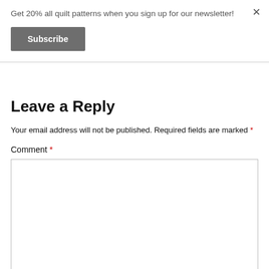Get 20% all quilt patterns when you sign up for our newsletter!
Subscribe
×
Leave a Reply
Your email address will not be published. Required fields are marked *
Comment *